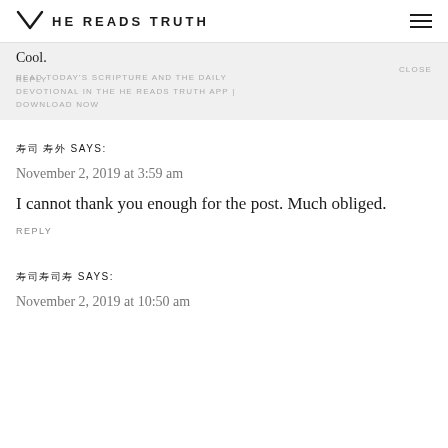HE READS TRUTH
Cool.
READ TODAY'S SCRIPTURE AND THE DAILY DEVOTIONAL IN THE HE READS TRUTH APP | CLOSE
REPLY
DOWNLOAD NOW
??? ??? SAYS:
November 2, 2019 at 3:59 am
I cannot thank you enough for the post. Much obliged.
REPLY
?????? SAYS:
November 2, 2019 at 10:50 am